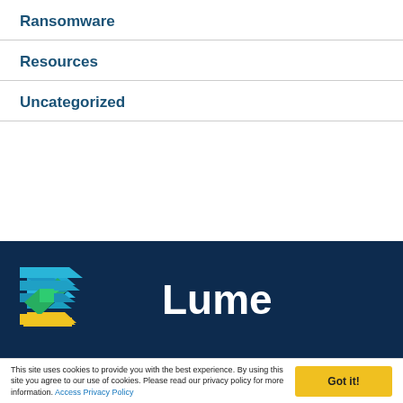Ransomware
Resources
Uncategorized
[Figure (logo): Lume company logo with blue, green, and yellow layered chevron/diamond icon and white 'Lume' text on dark navy background]
This site uses cookies to provide you with the best experience. By using this site you agree to our use of cookies. Please read our privacy policy for more information. Access Privacy Policy